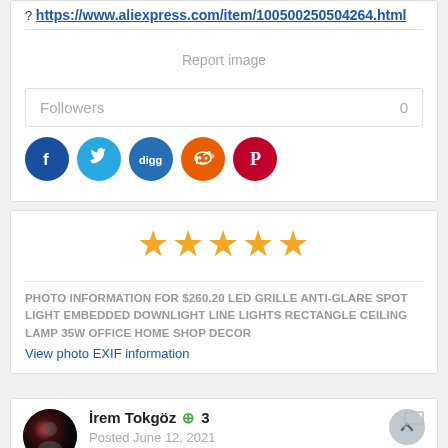? https://www.aliexpress.com/item/100500250504264.html
Report image
Followers  0
[Figure (other): Social media share icons: Facebook, Twitter, Digg, Reddit, Pinterest]
[Figure (other): Five orange star rating icons]
PHOTO INFORMATION FOR $260.20 LED GRILLE ANTI-GLARE SPOT LIGHT EMBEDDED DOWNLIGHT LINE LIGHTS RECTANGLE CEILING LAMP 35W OFFICE HOME SHOP DECOR
View photo EXIF information
İrem Tokgöz + 3
Posted June 12, 2021